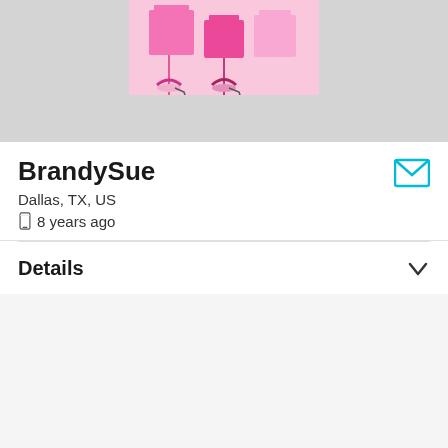[Figure (illustration): Banner area with a pink fashion illustration showing legs in high heels with pink boxes/shopping bags in the background, on a gray background]
BrandySue
Dallas, TX, US
8 years ago
Details